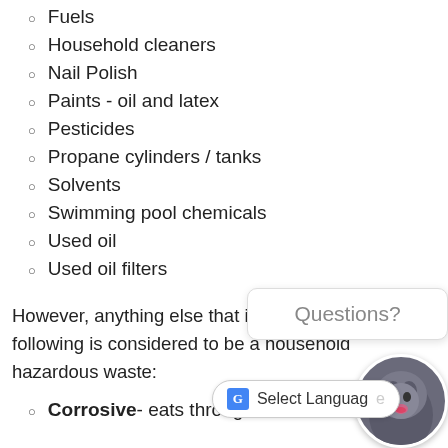Fuels
Household cleaners
Nail Polish
Paints - oil and latex
Pesticides
Propane cylinders / tanks
Solvents
Swimming pool chemicals
Used oil
Used oil filters
However, anything else that is labeled with the following is considered to be a household hazardous waste:
Corrosive- eats through me... such as an acid.